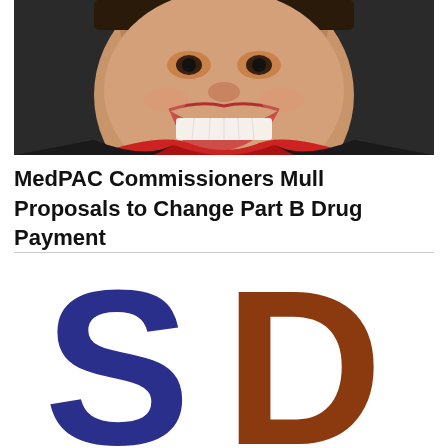[Figure (photo): Close-up portrait photo of a smiling person wearing red and black clothing, cropped to show mostly face and upper torso]
MedPAC Commissioners Mull Proposals to Change Part B Drug Payment
[Figure (logo): Logo showing large letter S in dark blue and large letter D in brown/rust color, representing SD publication or organization]